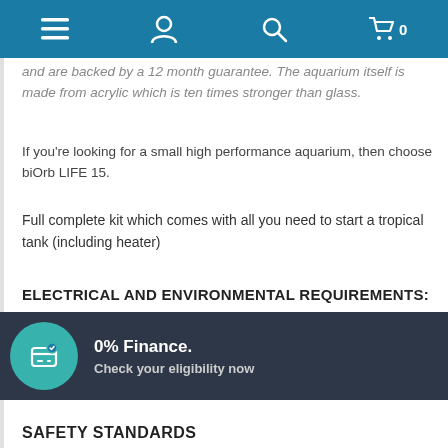Navigation bar with menu, account, search, and cart icons
and are backed by a 12 month guarantee. The aquarium itself is made from acrylic which is ten times stronger than glass.
If you're looking for a small high performance aquarium, then choose biOrb LIFE 15.
Full complete kit which comes with all you need to start a tropical tank (including heater)
ELECTRICAL AND ENVIRONMENTAL REQUIREMENTS:
Line voltage: 12V AC
Frequency: 50Hz or 60Hz, single phase
0% Finance. Check your eligibility now
SAFETY STANDARDS